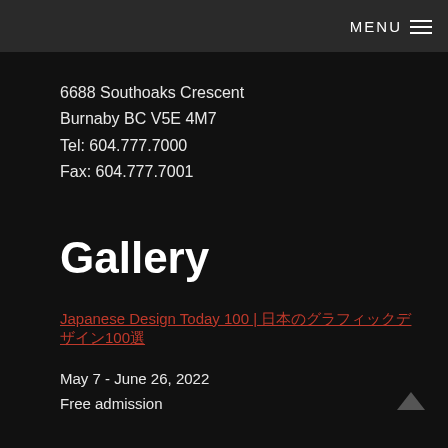MENU ≡
6688 Southoaks Crescent
Burnaby BC V5E 4M7
Tel: 604.777.7000
Fax: 604.777.7001
Gallery
Japanese Design Today 100 | 日本のグラフィックデザイン100選
May 7 - June 26, 2022
Free admission
Level 2
Ongoing Exhibit: